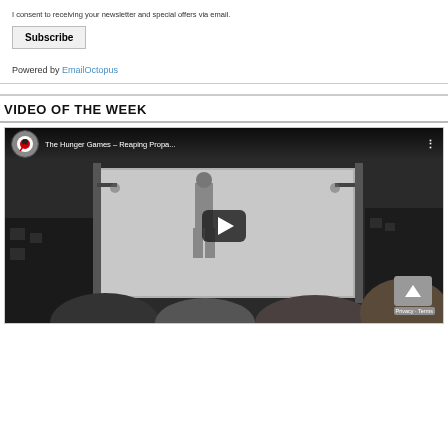I consent to receiving your newsletter and special offers via email.
Subscribe
Powered by EmailOctopus
VIDEO OF THE WEEK
[Figure (screenshot): YouTube video embed showing 'The Hunger Games - Reaping Propa...' with a play button overlay. The video thumbnail shows a black-and-white dystopian scene with people watching a large outdoor screen. A YouTube channel avatar is visible in the top-left corner of the video player bar.]